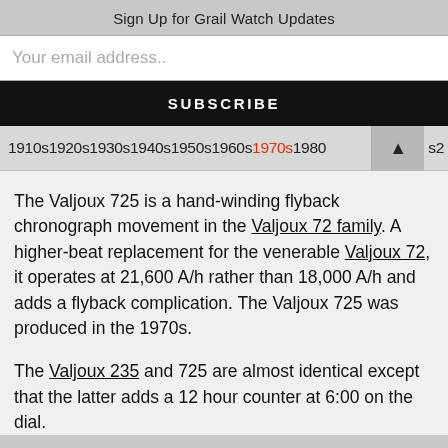Sign Up for Grail Watch Updates
Your email address..
SUBSCRIBE
1910s1920s1930s1940s1950s1960s1970s1980s2...
The Valjoux 725 is a hand-winding flyback chronograph movement in the Valjoux 72 family. A higher-beat replacement for the venerable Valjoux 72, it operates at 21,600 A/h rather than 18,000 A/h and adds a flyback complication. The Valjoux 725 was produced in the 1970s.
The Valjoux 235 and 725 are almost identical except that the latter adds a 12 hour counter at 6:00 on the dial.